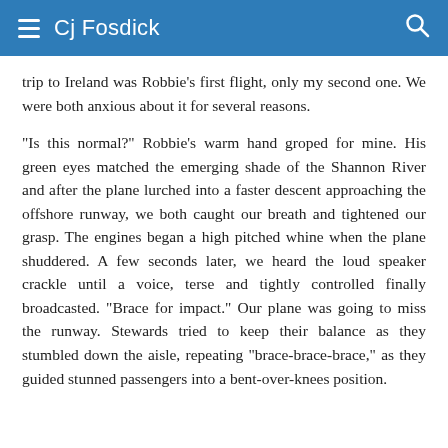Cj Fosdick
trip to Ireland was Robbie's first flight, only my second one. We were both anxious about it for several reasons.

"Is this normal?" Robbie's warm hand groped for mine. His green eyes matched the emerging shade of the Shannon River and after the plane lurched into a faster descent approaching the offshore runway, we both caught our breath and tightened our grasp. The engines began a high pitched whine when the plane shuddered. A few seconds later, we heard the loud speaker crackle until a voice, terse and tightly controlled finally broadcasted. "Brace for impact." Our plane was going to miss the runway. Stewards tried to keep their balance as they stumbled down the aisle, repeating "brace-brace-brace," as they guided stunned passengers into a bent-over-knees position.